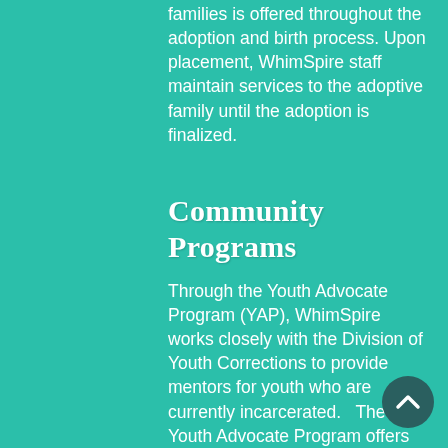families is offered throughout the adoption and birth process. Upon placement, WhimSpire staff maintain services to the adoptive family until the adoption is finalized.
Community Programs
Through the Youth Advocate Program (YAP), WhimSpire works closely with the Division of Youth Corrections to provide mentors for youth who are currently incarcerated.   The Youth Advocate Program offers children/youth a chance to spend time with a mentor while in detention, as well as in community placements and on parole status.  The YAP program